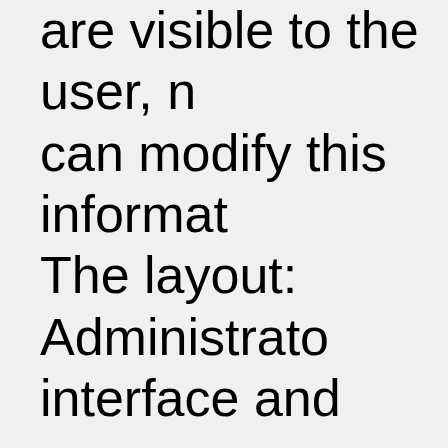are visible to the user, can modify this information. The layout: Administrator interface and menus Vote Menu (depending on admin level) (same as that of users) Profile Menu (same as users) Results Menu